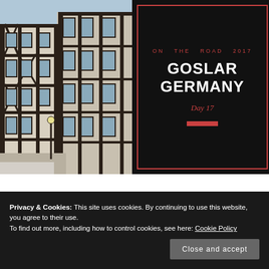[Figure (photo): Photo of traditional German half-timbered buildings (Fachwerk) in Goslar, taken from a low angle showing dark timber framing against white plaster walls and a light blue sky]
ON THE ROAD 2017
GOSLAR GERMANY
Day 17
Privacy & Cookies: This site uses cookies. By continuing to use this website, you agree to their use.
To find out more, including how to control cookies, see here: Cookie Policy
Close and accept